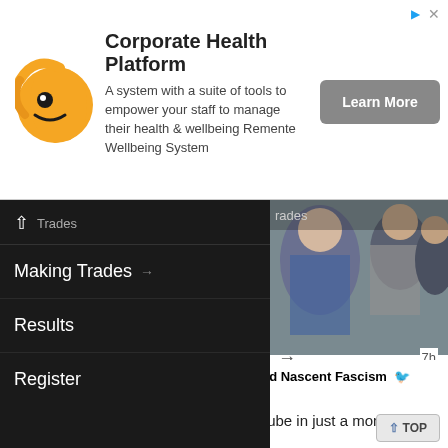[Figure (other): Advertisement banner for Corporate Health Platform with orange logo, description text, and Learn More button]
Corporate Health Platform
A system with a suite of tools to empower your staff to manage their health & wellbeing Remente Wellbeing System
[Figure (photo): Navigation sidebar menu with Making Trades, Results, Register items over a partially visible photo of people]
Making Trades
Results
Register
7h
(((George Acs)))  We Defeated Nascent Fascism
@TheAcsMan
I'll know whether it's a real ice cube in just a moment
[Figure (photo): Close-up photo of a drink in a glass with straw and someone's arm visible]